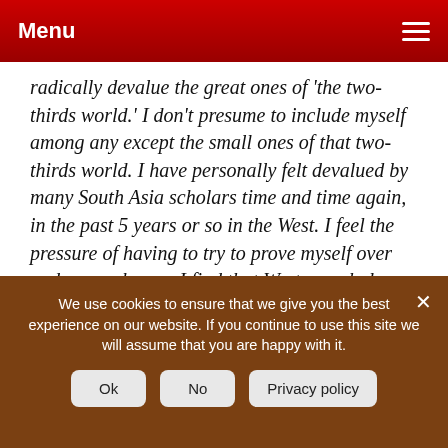Menu
radically devalue the great ones of 'the two-thirds world.' I don't presume to include myself among any except the small ones of that two-thirds world. I have personally felt devalued by many South Asia scholars time and time again, in the past 5 years or so in the West. I feel the pressure of having to try to prove myself over and over, whereas I find that Western scholars seem to have few such pressures. They seem to get away for the most part with little attainment, yet they receive high recognition and acclaim, often thanks to their powerful 'contacts' in high places.  This has tended
We use cookies to ensure that we give you the best experience on our website. If you continue to use this site we will assume that you are happy with it.